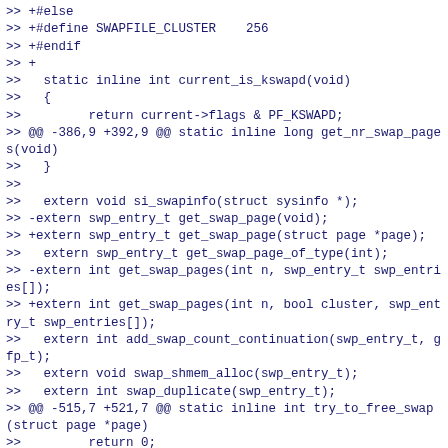>> +#else
>> +#define SWAPFILE_CLUSTER    256
>> +#endif
>> +
>>   static inline int current_is_kswapd(void)
>>   {
>>         return current->flags & PF_KSWAPD;
>> @@ -386,9 +392,9 @@ static inline long get_nr_swap_pages(void)
>>   }
>>
>>   extern void si_swapinfo(struct sysinfo *);
>> -extern swp_entry_t get_swap_page(void);
>> +extern swp_entry_t get_swap_page(struct page *page);
>>   extern swp_entry_t get_swap_page_of_type(int);
>> -extern int get_swap_pages(int n, swp_entry_t swp_entries[]);
>> +extern int get_swap_pages(int n, bool cluster, swp_entry_t swp_entries[]);
>>   extern int add_swap_count_continuation(swp_entry_t, gfp_t);
>>   extern void swap_shmem_alloc(swp_entry_t);
>>   extern int swap_duplicate(swp_entry_t);
>> @@ -515,7 +521,7 @@ static inline int try_to_free_swap(struct page *page)
>>         return 0;
>>   }
>>
>> -static inline swp_entry_t get_swap_page(void)
>> +static inline swp_entry_t get_swap_page(struct page